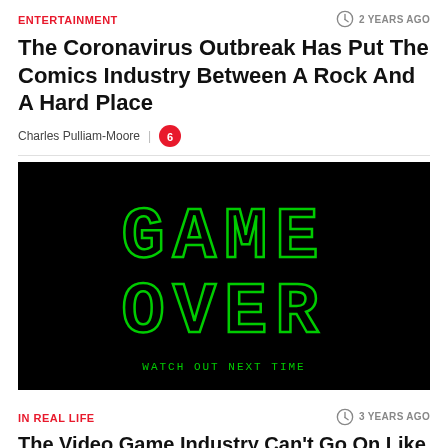ENTERTAINMENT
2 YEARS AGO
The Coronavirus Outbreak Has Put The Comics Industry Between A Rock And A Hard Place
Charles Pulliam-Moore | 6
[Figure (photo): Black background with green pixel-art style text reading GAME OVER and below it WATCH OUT NEXT TIME]
IN REAL LIFE
3 YEARS AGO
The Video Game Industry Can't Go On Like This